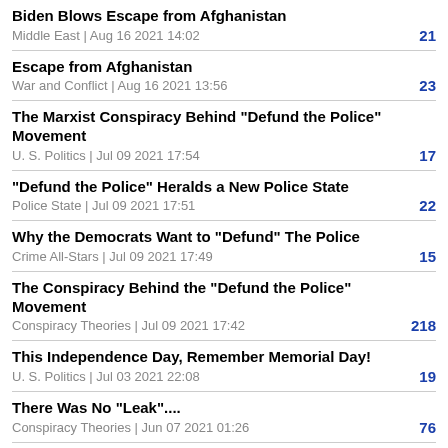Biden Blows Escape from Afghanistan
Middle East | Aug 16 2021 14:02
21
Escape from Afghanistan
War and Conflict | Aug 16 2021 13:56
23
The Marxist Conspiracy Behind "Defund the Police" Movement
U. S. Politics | Jul 09 2021 17:54
17
"Defund the Police" Heralds a New Police State
Police State | Jul 09 2021 17:51
22
Why the Democrats Want to "Defund" The Police
Crime All-Stars | Jul 09 2021 17:49
15
The Conspiracy Behind the "Defund the Police" Movement
Conspiracy Theories | Jul 09 2021 17:42
218
This Independence Day, Remember Memorial Day!
U. S. Politics | Jul 03 2021 22:08
19
There Was No "Leak"....
Conspiracy Theories | Jun 07 2021 01:26
76